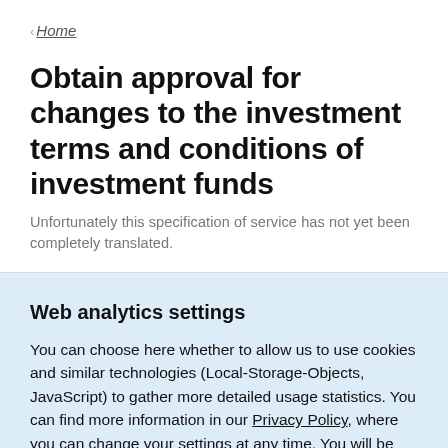< Home
Obtain approval for changes to the investment terms and conditions of investment funds
Unfortunately this specification of service has not yet been completely translated.
Web analytics settings
You can choose here whether to allow us to use cookies and similar technologies (Local-Storage-Objects, JavaScript) to gather more detailed usage statistics. You can find more information in our Privacy Policy, where you can change your settings at any time. You will be able to use all Federal Portal functions, no matter which settings you choose.